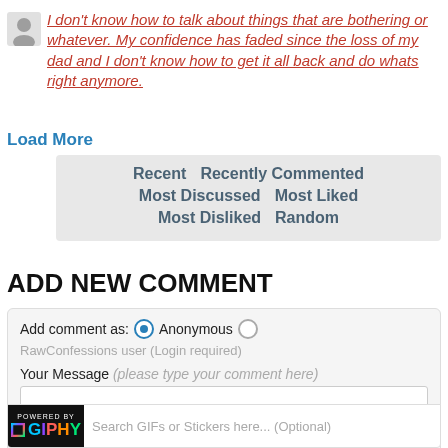I don't know how to talk about things that are bothering or whatever. My confidence has faded since the loss of my dad and I don't know how to get it all back and do whats right anymore.
Load More
Recent   Recently Commented   Most Discussed   Most Liked   Most Disliked   Random
ADD NEW COMMENT
Add comment as: Anonymous RawConfessions user (Login required)
Your Message (please type your comment here)
Search GIFs or Stickers here... (Optional)